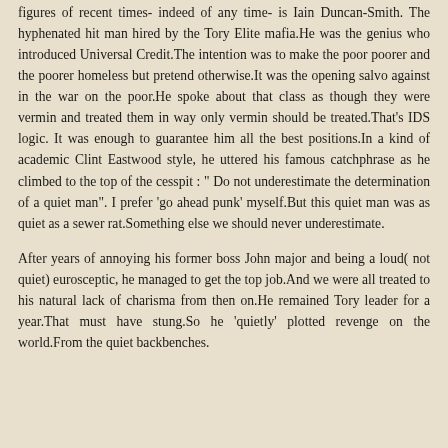figures of recent times- indeed of any time- is Iain Duncan-Smith. The hyphenated hit man hired by the Tory Elite mafia.He was the genius who introduced Universal Credit.The intention was to make the poor poorer and the poorer homeless but pretend otherwise.It was the opening salvo against in the war on the poor.He spoke about that class as though they were vermin and treated them in way only vermin should be treated.That's IDS logic. It was enough to guarantee him all the best positions.In a kind of academic Clint Eastwood style, he uttered his famous catchphrase as he climbed to the top of the cesspit : " Do not underestimate the determination of a quiet man". I prefer 'go ahead punk' myself.But this quiet man was as quiet as a sewer rat.Something else we should never underestimate.
After years of annoying his former boss John major and being a loud( not quiet) eurosceptic, he managed to get the top job.And we were all treated to his natural lack of charisma from then on.He remained Tory leader for a year.That must have stung.So he 'quietly' plotted revenge on the world.From the quiet backbenches.